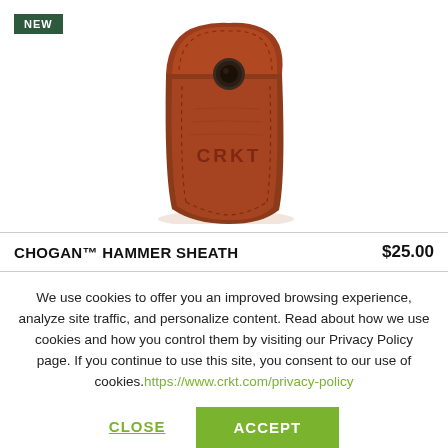[Figure (photo): Brown leather CRKT sheath with snap button closure and stitching detail, embossed with CRKT logo]
CHOGAN™ HAMMER SHEATH   $25.00
We use cookies to offer you an improved browsing experience, analyze site traffic, and personalize content. Read about how we use cookies and how you control them by visiting our Privacy Policy page. If you continue to use this site, you consent to our use of cookies. https://www.crkt.com/privacy-policy
CLOSE
ACCEPT